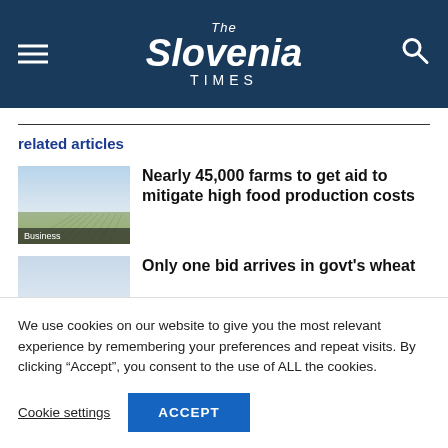The Slovenia Times
related articles
[Figure (photo): Agricultural field with rows of crops under a bright sky, labeled 'Business']
Nearly 45,000 farms to get aid to mitigate high food production costs
[Figure (photo): Partial view of another article thumbnail (sky/field)]
Only one bid arrives in govt's wheat
We use cookies on our website to give you the most relevant experience by remembering your preferences and repeat visits. By clicking “Accept”, you consent to the use of ALL the cookies.
Cookie settings | ACCEPT